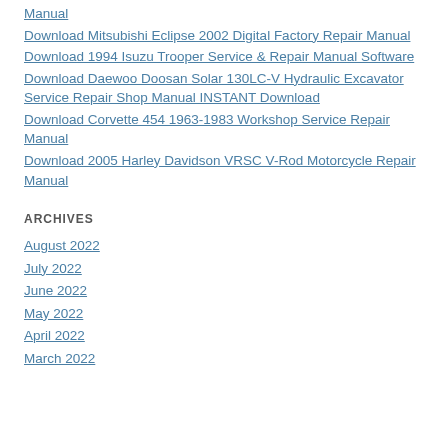Manual
Download Mitsubishi Eclipse 2002 Digital Factory Repair Manual
Download 1994 Isuzu Trooper Service & Repair Manual Software
Download Daewoo Doosan Solar 130LC-V Hydraulic Excavator Service Repair Shop Manual INSTANT Download
Download Corvette 454 1963-1983 Workshop Service Repair Manual
Download 2005 Harley Davidson VRSC V-Rod Motorcycle Repair Manual
ARCHIVES
August 2022
July 2022
June 2022
May 2022
April 2022
March 2022